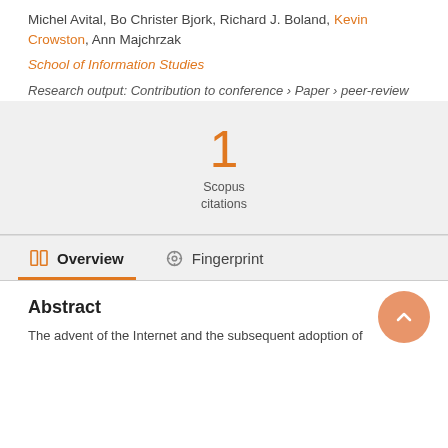Michel Avital, Bo Christer Bjork, Richard J. Boland, Kevin Crowston, Ann Majchrzak
School of Information Studies
Research output: Contribution to conference › Paper › peer-review
1 Scopus citations
Overview   Fingerprint
Abstract
The advent of the Internet and the subsequent adoption of